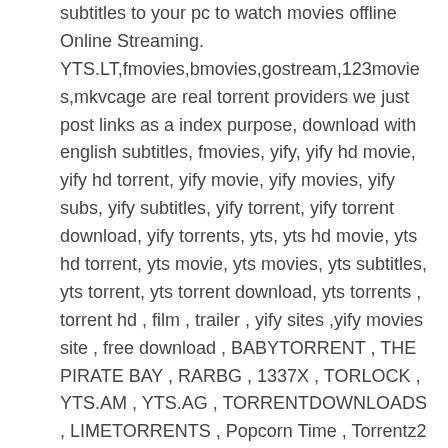subtitles to your pc to watch movies offline Online Streaming. YTS.LT,fmovies,bmovies,gostream,123movies,mkvcage are real torrent providers we just post links as a index purpose, download with english subtitles, fmovies, yify, yify hd movie, yify hd torrent, yify movie, yify movies, yify subs, yify subtitles, yify torrent, yify torrent download, yify torrents, yts, yts hd movie, yts hd torrent, yts movie, yts movies, yts subtitles, yts torrent, yts torrent download, yts torrents , torrent hd , film , trailer , yify sites ,yify movies site , free download , BABYTORRENT , THE PIRATE BAY , RARBG , 1337X , TORLOCK , YTS.AM , YTS.AG , TORRENTDOWNLOADS , LIMETORRENTS , Popcorn Time , Torrentz2 , ETTV Torrents , Torrent Galaxy , KAT , EZTV , Torrents.me , Monova , Toorgle , Seedpeer , TorrentFunk , Zooqle , YourBittorrent , 7tor , rutracker , Pirateiro , Nyaa , ArenaBG , mkvcage , seehd.pl , Silmarillion , EtHD , ETRG , mazemaze16 , torrent9 , YTS.lt film streaming vk,film streaming vf,film en streaming,film streaming,streaming vf,film online,watch online,download torrent,youwatch streaming,vk streaming,film 2019-2020